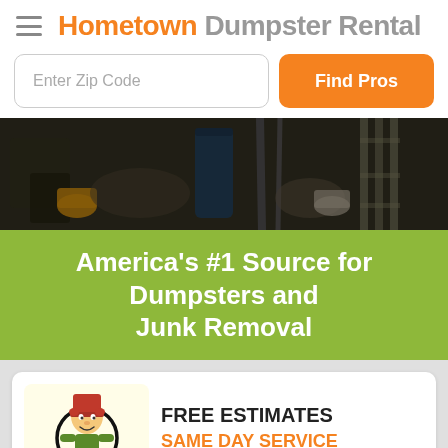Hometown Dumpster Rental
Enter Zip Code
Find Pros
[Figure (photo): Dark photo of a cluttered storage area or junk pile with various items including drums, chains, and miscellaneous debris]
America's #1 Source for Dumpsters and Junk Removal
[Figure (illustration): Cartoon mascot character holding a dumpster, on a light yellow background]
FREE ESTIMATES
SAME DAY SERVICE